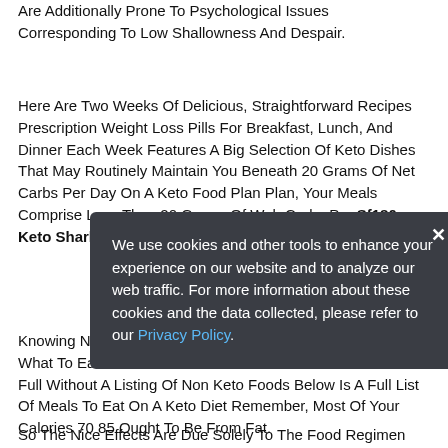Are Additionally Prone To Psychological Issues Corresponding To Low Shallowness And Despair.
Here Are Two Weeks Of Delicious, Straightforward Recipes Prescription Weight Loss Pills For Breakfast, Lunch, And Dinner Each Week Features A Big Selection Of Keto Dishes That May Routinely Maintain You Beneath 20 Grams Of Net Carbs Per Day On A Keto Food Plan Plan, Your Meals Comprise Less Than 20 Grams Of Web Carbs Per Sf180 Keto Shark Tank Day.
Knowing No Much Less Than And Essential As Figuring Out What To Eat. This Keto Food Plan Meats List Wouldn T Be Full Without A Listing Of Non Keto Foods Below Is A Full List Of Meals To Eat On A Keto Diet Remember, Most Of Your Calories 70 85 Ought To Be From Fat.
So The Nice Effects Are Due Solely To The Food Regimen
We use cookies and other tools to enhance your experience on our website and to analyze our web traffic. For more information about these cookies and the data collected, please refer to our Privacy Policy.